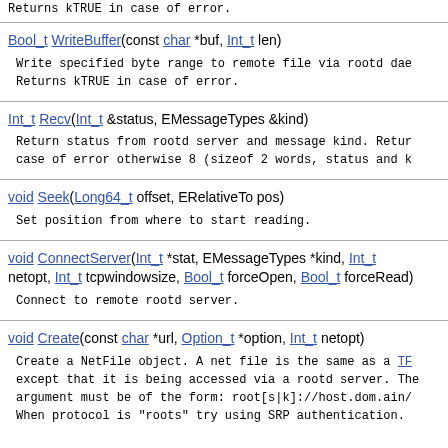Returns kTRUE in case of error.
Bool_t WriteBuffer(const char *buf, Int_t len)
Write specified byte range to remote file via rootd daemon. Returns kTRUE in case of error.
Int_t Recv(Int_t &status, EMessageTypes &kind)
Return status from rootd server and message kind. Returns -1 in case of error otherwise 8 (sizeof 2 words, status and kind).
void Seek(Long64_t offset, ERelativeTo pos)
Set position from where to start reading.
void ConnectServer(Int_t *stat, EMessageTypes *kind, Int_t netopt, Int_t tcpwindowsize, Bool_t forceOpen, Bool_t forceRead)
Connect to remote rootd server.
void Create(const char *url, Option_t *option, Int_t netopt)
Create a NetFile object. A net file is the same as a TFile except that it is being accessed via a rootd server. The url argument must be of the form: root[s|k]://host.dom.ain/filename. When protocol is "roots" try using SRP authentication.